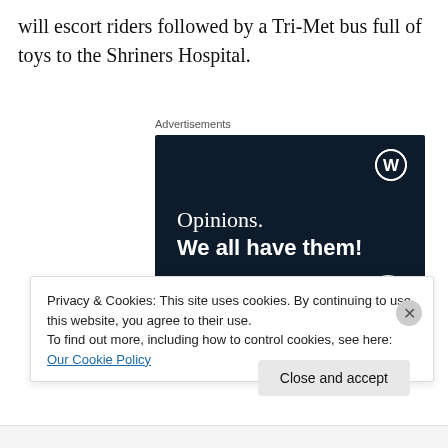will escort riders followed by a Tri-Met bus full of toys to the Shriners Hospital.
Advertisements
[Figure (other): WordPress/CrowdSignal advertisement banner with dark navy background. Shows WordPress logo top-right, text 'Opinions. We all have them!', a pink 'Start a survey' button, and CrowdSignal logo bottom-right.]
Privacy & Cookies: This site uses cookies. By continuing to use this website, you agree to their use.
To find out more, including how to control cookies, see here: Our Cookie Policy
Close and accept